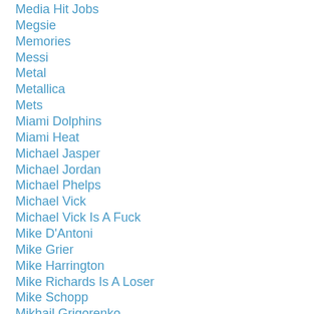Media Hit Jobs
Megsie
Memories
Messi
Metal
Metallica
Mets
Miami Dolphins
Miami Heat
Michael Jasper
Michael Jordan
Michael Phelps
Michael Vick
Michael Vick Is A Fuck
Mike D'Antoni
Mike Grier
Mike Harrington
Mike Richards Is A Loser
Mike Schopp
Mikhail Grigorenko
Miller